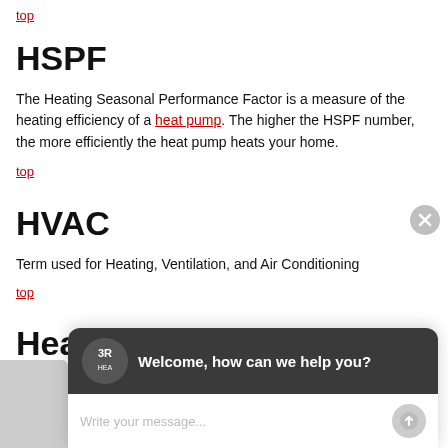top
HSPF
The Heating Seasonal Performance Factor is a measure of the heating efficiency of a heat pump. The higher the HSPF number, the more efficiently the heat pump heats your home.
top
HVAC
Term used for Heating, Ventilation, and Air Conditioning
top
Heat...
The pa...